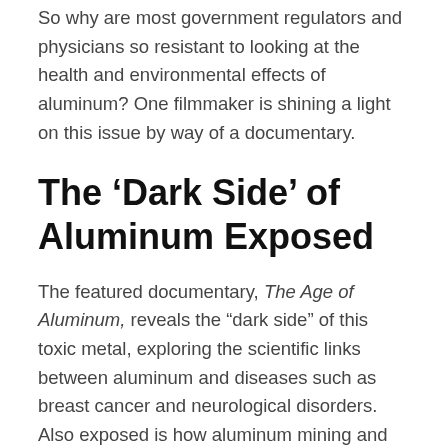So why are most government regulators and physicians so resistant to looking at the health and environmental effects of aluminum? One filmmaker is shining a light on this issue by way of a documentary.
The ‘Dark Side’ of Aluminum Exposed
The featured documentary, The Age of Aluminum, reveals the “dark side” of this toxic metal, exploring the scientific links between aluminum and diseases such as breast cancer and neurological disorders. Also exposed is how aluminum mining and manufacturing have created acute ecological